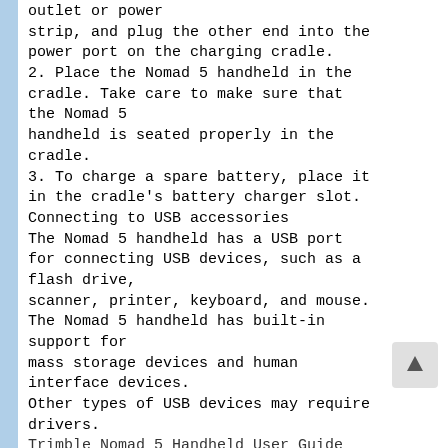outlet or power strip, and plug the other end into the power port on the charging cradle.
2. Place the Nomad 5 handheld in the cradle. Take care to make sure that the Nomad 5 handheld is seated properly in the cradle.
3. To charge a spare battery, place it in the cradle's battery charger slot.
Connecting to USB accessories
The Nomad 5 handheld has a USB port for connecting USB devices, such as a flash drive, scanner, printer, keyboard, and mouse. The Nomad 5 handheld has built-in support for mass storage devices and human interface devices.
Other types of USB devices may require drivers.
Trimble Nomad 5 Handheld User Guide